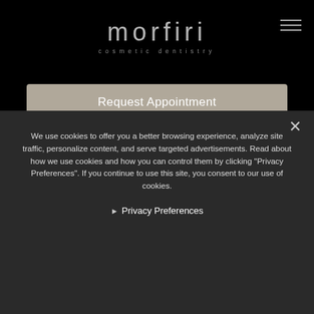[Figure (logo): Morfiri cosmetic dentistry logo in light gray text on black background]
Request Appointment
Dr MORFIRI
We use cookies to offer you a better browsing experience, analyze site traffic, personalize content, and serve targeted advertisements. Read about how we use cookies and how you can control them by clicking "Privacy Preferences". If you continue to use this site, you consent to our use of cookies.
Privacy Preferences